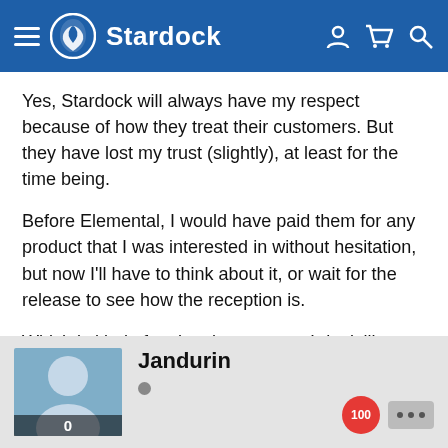Stardock
Yes, Stardock will always have my respect because of how they treat their customers. But they have lost my trust (slightly), at least for the time being.
Before Elemental, I would have paid them for any product that I was interested in without hesitation, but now I'll have to think about it, or wait for the release to see how the reception is.
Which is kind of sad, at least to me. I don't like losing faith in companies that I once had complete confidence in.
Jandurin
0